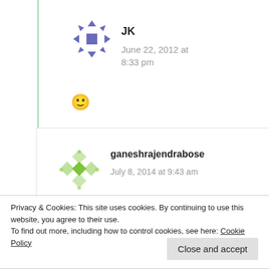[Figure (illustration): Avatar icon for user JK - blue geometric snowflake/diamond pattern]
JK
June 22, 2012 at 8:33 pm
🙂
[Figure (illustration): Avatar icon for user ganeshrajendrabose - green geometric diamond pattern]
ganeshrajendrabose
July 8, 2014 at 9:43 am
Privacy & Cookies: This site uses cookies. By continuing to use this website, you agree to their use.
To find out more, including how to control cookies, see here: Cookie Policy
Close and accept
dex.php/topic,14977.0.html and